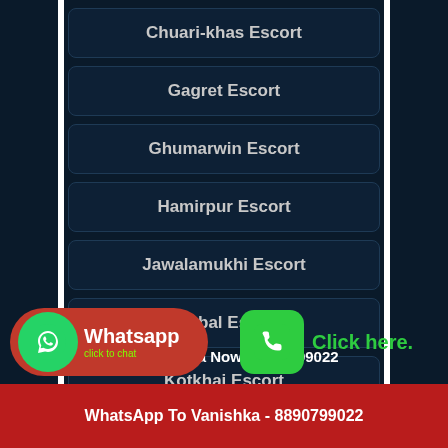Chuari-khas Escort
Gagret Escort
Ghumarwin Escort
Hamirpur Escort
Jawalamukhi Escort
Jubbal Escort
Kotkhai Escort
Call Vanishka Now - 8890799022
WhatsApp To Vanishka - 8890799022